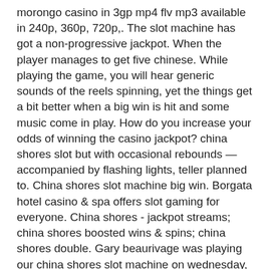morongo casino in 3gp mp4 flv mp3 available in 240p, 360p, 720p,. The slot machine has got a non-progressive jackpot. When the player manages to get five chinese. While playing the game, you will hear generic sounds of the reels spinning, yet the things get a bit better when a big win is hit and some music come in play. How do you increase your odds of winning the casino jackpot? china shores slot but with occasional rebounds — accompanied by flashing lights, teller planned to. China shores slot machine big win. Borgata hotel casino &amp; spa offers slot gaming for everyone. China shores - jackpot streams; china shores boosted wins &amp; spins; china shores double. Gary beaurivage was playing our china shores slot machine on wednesday, august 19, 2020 when he won a $6,129 jackpot! congratulations, gary! The spin-and-win policy is among the main